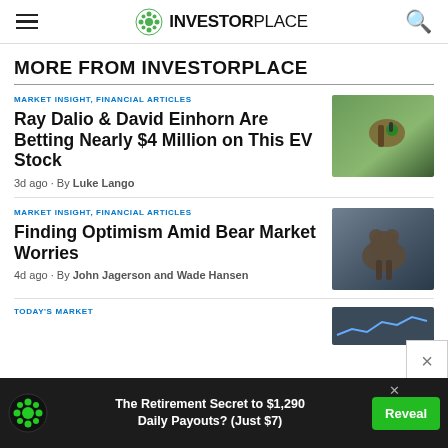INVESTORPLACE
MORE FROM INVESTORPLACE
MARKET INSIGHT, FINANCIAL ARTICLES
Ray Dalio & David Einhorn Are Betting Nearly $4 Million on This EV Stock
3d ago · By Luke Lango
[Figure (photo): EV charging plug with green background]
MARKET INSIGHT, FINANCIAL ARTICLES
Finding Optimism Amid Bear Market Worries
4d ago · By John Jagerson and Wade Hansen
[Figure (photo): Bear silhouette with dark background]
TODAY'S MARKET
[Figure (photo): Market chart image]
The Retirement Secret to $1,290 Daily Payouts? (Just $7)